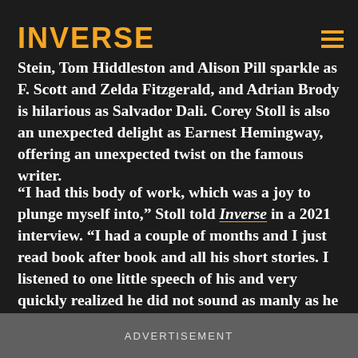INVERSE
artists. Kathy Bates was seemingly born to play Getrude Stein, Tom Hiddleston and Alison Pill sparkle as F. Scott and Zelda Fitzgerald, and Adrian Brody is hilarious as Salvador Dali. Corey Stoll is also an unexpected delight as Earnest Hemingway, offering an unexpected twist on the famous writer.
“I had this body of work, which was a joy to plunge myself into,” Stoll told Inverse in a 2021 interview. “I had a couple of months and I just read book after book and all his short stories. I listened to one little speech of his and very quickly realized he did not sound as manly as he sounds when you’re imagining him on the page, which was the whole point of the character was the sort of idealized version of Hemingway.”
ADVERTISEMENT